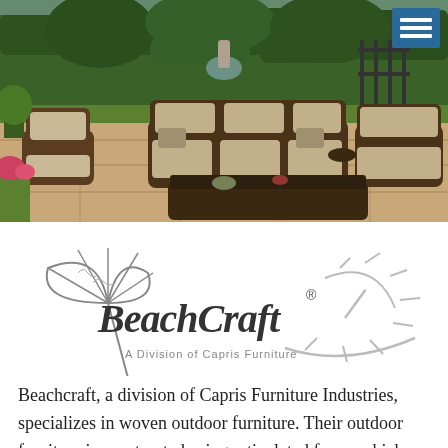[Figure (photo): Outdoor patio furniture set including wicker sofas, chairs, and a coffee table arranged on a stone patio with green hedges and trees in the background. A hamburger menu icon appears in the top-right corner on a blue background.]
[Figure (logo): BeachCraft logo with an umbrella and sun illustration. Text reads 'BeachCraft®' in script and 'A Division of Capris Furniture' underneath.]
Beachcraft, a division of Capris Furniture Industries, specializes in woven outdoor furniture. Their outdoor furniture is constructed using reticulated foam, which speeds